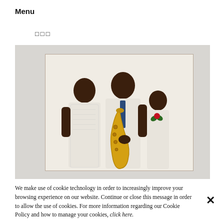Menu
□□□
[Figure (photo): A painting displayed on a gallery wall showing three Black figures dressed in white, with the central figure holding a gold saxophone and wearing a blue tie, flanked by two others, one with a red flower pin.]
We make use of cookie technology in order to increasingly improve your browsing experience on our website. Continue or close this message in order to allow the use of cookies. For more information regarding our Cookie Policy and how to manage your cookies, click here.